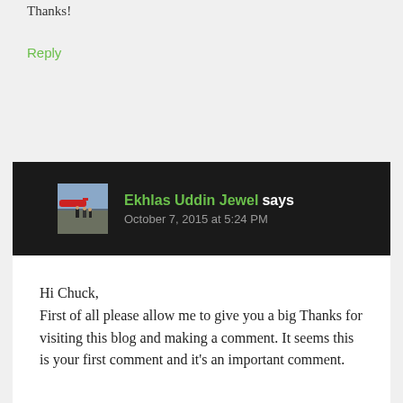Thanks!
Reply
[Figure (photo): Avatar photo of Ekhlas Uddin Jewel showing people near an airplane on a tarmac]
Ekhlas Uddin Jewel says
October 7, 2015 at 5:24 PM
Hi Chuck,
First of all please allow me to give you a big Thanks for visiting this blog and making a comment. It seems this is your first comment and it's an important comment.